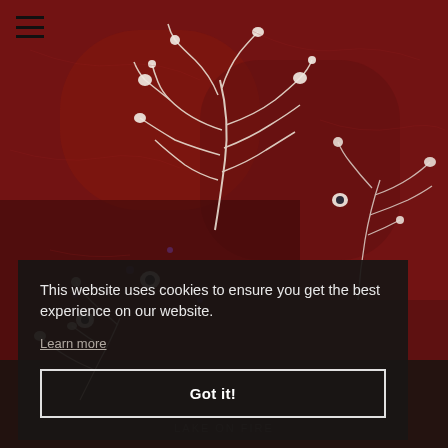[Figure (photo): Close-up macro photograph on deep red/crimson background showing pale white skeletal or organic branching structures resembling microscopic organisms, coral, or crustaceans with bulbous nodes and radiating filaments.]
This website uses cookies to ensure you get the best experience on our website.
Learn more
Got it!
LAKE ON FIRE